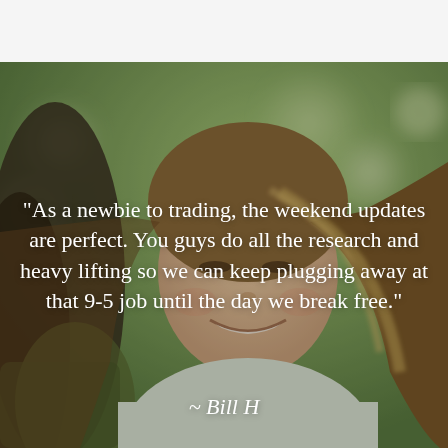[Figure (photo): Close-up photo of a smiling young woman with long blonde-brown hair outdoors, with a blurred green background. Another person partially visible on the left.]
"As a newbie to trading, the weekend updates are perfect. You guys do all the research and heavy lifting so we can keep plugging away at that 9-5 job until the day we break free."
~ Bill H